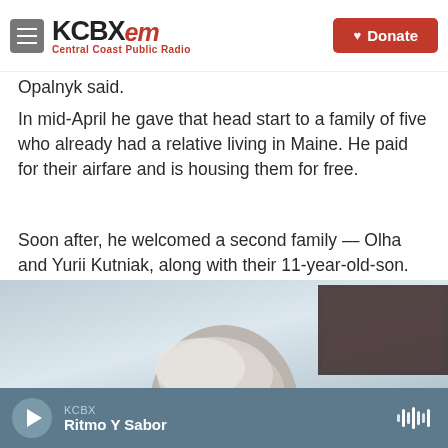KCBX FM Central Coast Public Radio | Donate
Opalnyk said.
In mid-April he gave that head start to a family of five who already had a relative living in Maine. He paid for their airfare and is housing them for free.
Soon after, he welcomed a second family — Olha and Yurii Kutniak, along with their 11-year-old-son. They're now sharing their apartment with Halyna and Petro Terzi.
[Figure (photo): Partial view of a person's head with gray/white hair, with a dark rectangular frame visible in the upper right corner, against a light gray background.]
KCBX | Ritmo Y Sabor